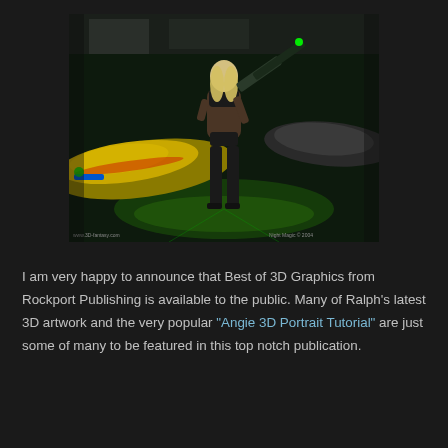[Figure (illustration): 3D rendered digital artwork showing a blonde woman in black outfit holding a large futuristic gun, standing in front of a sci-fi spaceship/aircraft in a dark green-lit environment. Watermark text visible at bottom corners.]
I am very happy to announce that Best of 3D Graphics from Rockport Publishing is available to the public. Many of Ralph's latest 3D artwork and the very popular "Angie 3D Portrait Tutorial" are just some of many to be featured in this top notch publication.